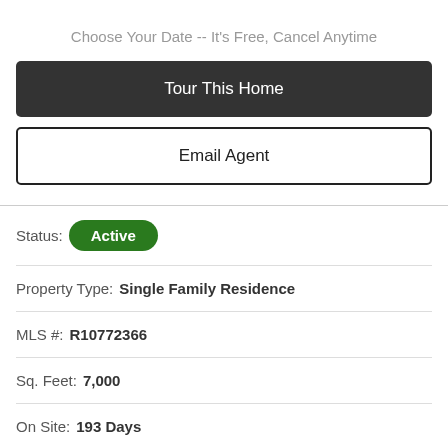Choose Your Date -- It's Free, Cancel Anytime
Tour This Home
Email Agent
Status: Active
Property Type: Single Family Residence
MLS #: R10772366
Sq. Feet: 7,000
On Site: 193 Days